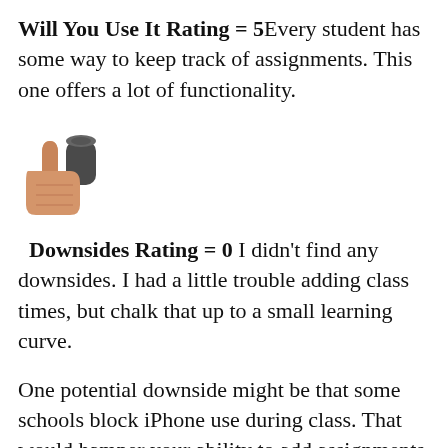Will You Use It Rating = 5Every student has some way to keep track of assignments.  This one offers a lot of functionality.
[Figure (illustration): Thumbs down emoji icon]
Downsides Rating = 0 I didn't find any downsides.  I had a little trouble adding class times, but chalk that up to a small learning curve.
One potential downside might be that some schools block iPhone use during class.  That would hamper your ability to add assignments immediately.  But, you could develop the habit of writing them down and transferring them to